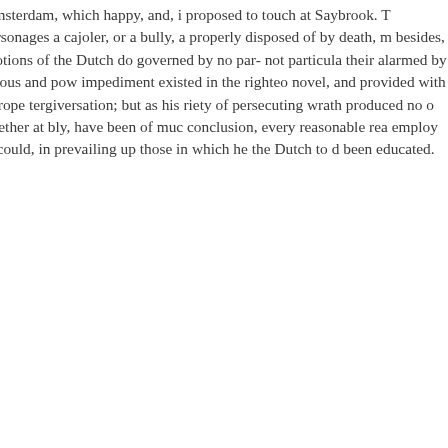difficulty, Major Atherton is mad Amsterdam, which happy, and, i proposed to touch at Saybrook. T hypocritical observer of them, er personages a cajoler, or a bully, a properly disposed of by death, m besides, that the riage, or otherw ordinary motions of the Dutch do governed by no par- not particula their alarmed by some reports of interest. A more serious and pow impediment existed in the righteo novel, and provided with which t latter incurs and escapes a prope tergiversation; but as his riety of persecuting wrath produced no o England. It would not, proba- of together at bly, have been of muc conclusion, every reasonable rea employ him- ought to be content well as he could, in prevailing up those in which he the Dutch to d been educated. Charity, of this ki